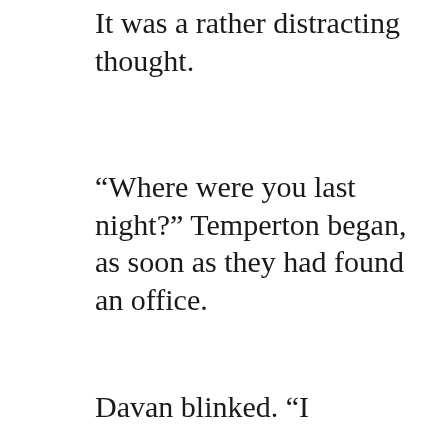It was a rather distracting thought.
“Where were you last night?” Temperton began, as soon as they had found an office.
Davan blinked. “I